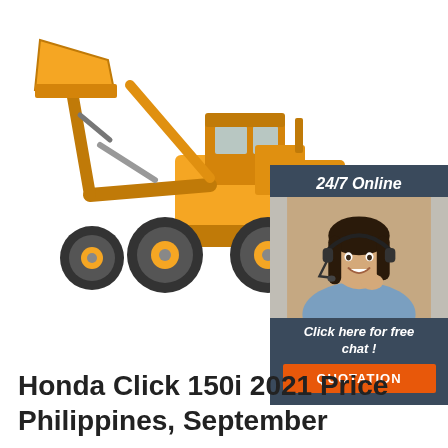[Figure (photo): Orange wheel loader / front-loader construction machine on white background]
[Figure (illustration): 24/7 Online chat widget with a woman wearing a headset, dark blue/slate background, 'Click here for free chat!' text and an orange QUOTATION button]
Honda Click 150i 2021 Price Philippines, September